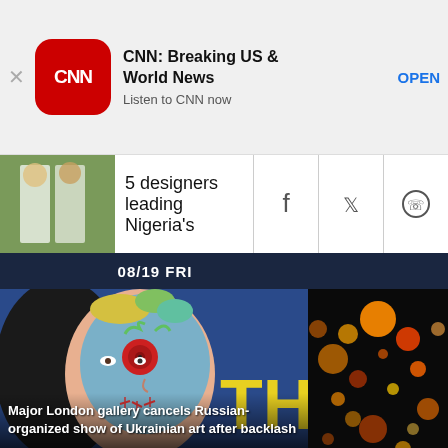[Figure (screenshot): CNN app advertisement banner with CNN logo, title 'CNN: Breaking US & World News', subtitle 'Listen to CNN now', and OPEN button]
CNN: Breaking US & World News
Listen to CNN now
OPEN
[Figure (screenshot): Navigation bar with thumbnail of fashion designers, headline '5 designers leading Nigeria's', and social share icons for Facebook, Twitter, WhatsApp]
5 designers leading Nigeria's
08/19 FRI
[Figure (photo): Artwork of a woman with face painted in Day of the Dead / sugar skull style with colorful flowers in hair, blue face paint with red rose eye decoration, against blue background with yellow text letters 'TH']
Major London gallery cancels Russian-organized show of Ukrainian art after backlash
[Figure (photo): Artist Pipilotti Rist artwork showing colorful bokeh-like lights of orange and other colors against dark background]
Artist Pipilotti Rist's serene 'forest' explores